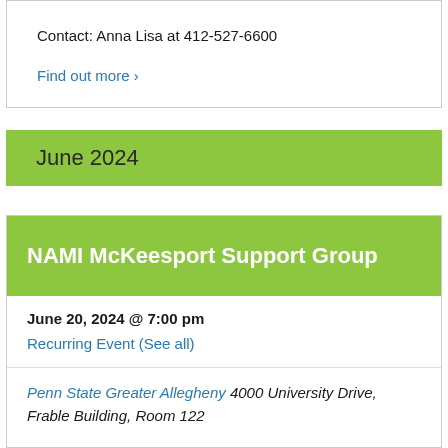Contact: Anna Lisa at 412-527-6600
Find out more ›
June 2024
NAMI McKeesport Support Group
June 20, 2024 @ 7:00 pm
Recurring Event (See all)
Penn State Greater Allegheny 4000 University Drive, Frable Building, Room 122